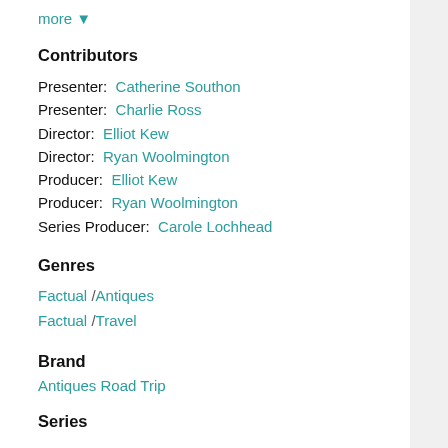more ▼
Contributors
Presenter:  Catherine Southon
Presenter:  Charlie Ross
Director:  Elliot Kew
Director:  Ryan Woolmington
Producer:  Elliot Kew
Producer:  Ryan Woolmington
Series Producer:  Carole Lochhead
Genres
Factual /Antiques
Factual /Travel
Brand
Antiques Road Trip
Series